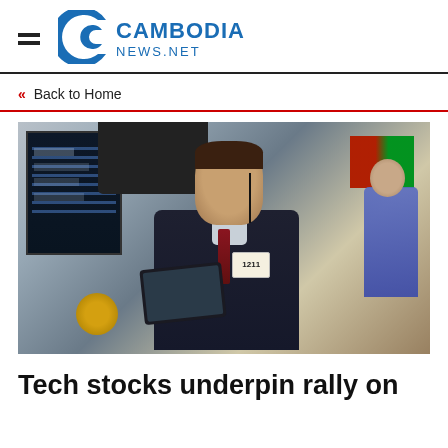Cambodia News.net
« Back to Home
[Figure (photo): Stock trader on the floor of a stock exchange, looking upward with intense expression, holding a tablet device, wearing a dark suit with red tie and badge numbered 1211, surrounded by multiple trading screens]
Tech stocks underpin rally on